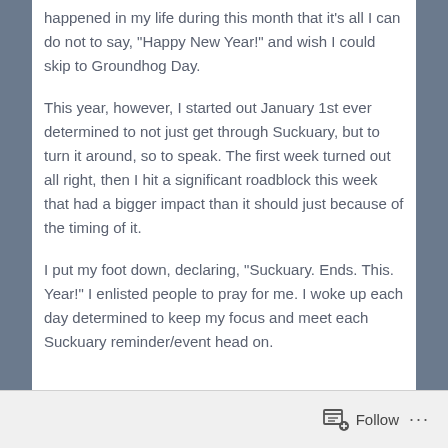happened in my life during this month that it's all I can do not to say, “Happy New Year!” and wish I could skip to Groundhog Day.
This year, however, I started out January 1st ever determined to not just get through Suckuary, but to turn it around, so to speak. The first week turned out all right, then I hit a significant roadblock this week that had a bigger impact than it should just because of the timing of it.
I put my foot down, declaring, “Suckuary. Ends. This. Year!” I enlisted people to pray for me. I woke up each day determined to keep my focus and meet each Suckuary reminder/event head on.
Follow ...